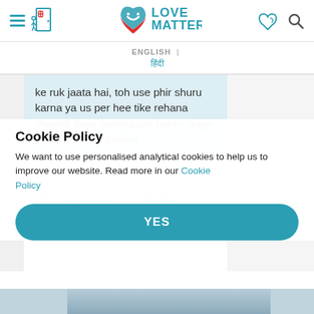[Figure (logo): Love Matters logo with heart icon and teal text, hamburger menu icon and door icon on left, speech bubble and search icons on right]
ENGLISH | हिंदी
ke ruk jaata hai, toh use phir shuru karna ya us per hee tike rehana shayed itnee samjhdaari nahin. Aage badhiye, naye kadam uthaiye, naye aur purane dost dhoondhiye, films, music, koi hobbies. Jaise ki unhone keeya
Cookie Policy
We want to use personalised analytical cookies to help us to improve our website. Read more in our Cookie Policy
https://lovematters.in/en/nahi/s/shes-avoiding-me-now-what
YES